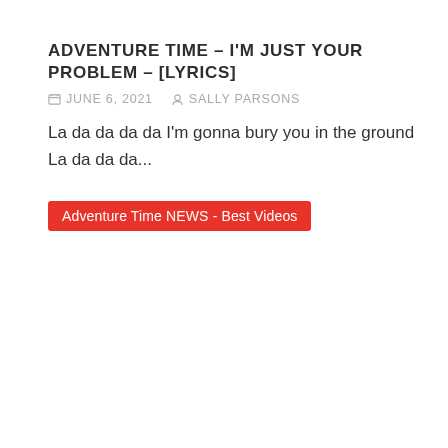ADVENTURE TIME – I'M JUST YOUR PROBLEM – [LYRICS]
JUNE 6, 2021   SALLY PARSONS
La da da da da I'm gonna bury you in the ground La da da da...
Adventure Time NEWS - Best Videos